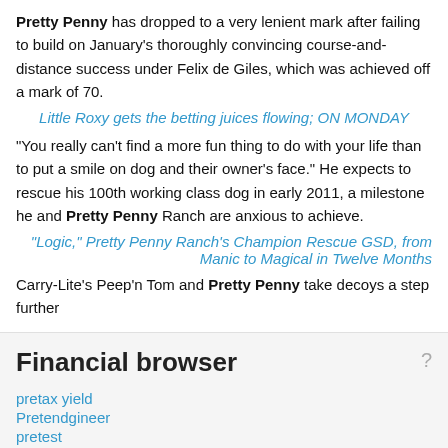Pretty Penny has dropped to a very lenient mark after failing to build on January's thoroughly convincing course-and-distance success under Felix de Giles, which was achieved off a mark of 70.
Little Roxy gets the betting juices flowing; ON MONDAY
"You really can't find a more fun thing to do with your life than to put a smile on dog and their owner's face." He expects to rescue his 100th working class dog in early 2011, a milestone he and Pretty Penny Ranch are anxious to achieve.
"Logic," Pretty Penny Ranch's Champion Rescue GSD, from Manic to Magical in Twelve Months
Carry-Lite's Peep'n Tom and Pretty Penny take decoys a step further
Financial browser
pretax yield
Pretendgineer
pretest
Pre-Trade Benchmark
Pre-trade benchmarks